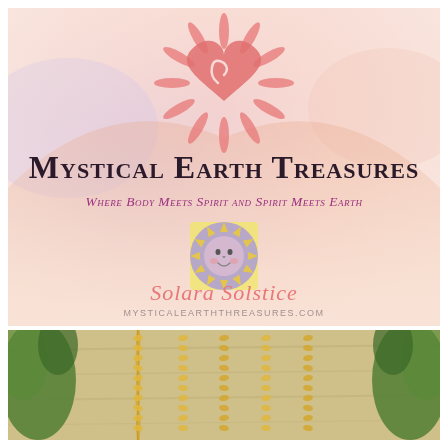[Figure (illustration): Mystical Earth Treasures brand banner. Soft pink/peach watercolor background with mountain shapes. A pink sun with a heart center radiates petal-like rays at the top. Large dark serif text reads 'Mystical Earth Treasures'. Below that in purple italic text: 'Where Body Meets Spirit and Spirit Meets Earth'. A circular sun-face illustration (Solara Solstice logo) in the center-bottom area. Cursive pink text 'Solara Solstice' below the sun face. Small text 'MYSTICALEARTHTHREASURES.COM' at the bottom.]
[Figure (photo): Photo of multiple gold chain necklaces hanging or laid out on a light wood surface, with green plant foliage visible on the left and right edges.]